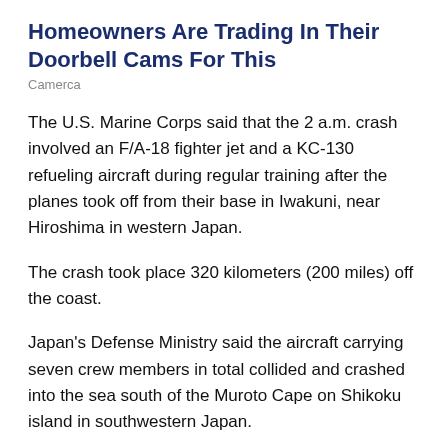Homeowners Are Trading In Their Doorbell Cams For This
Camerca
The U.S. Marine Corps said that the 2 a.m. crash involved an F/A-18 fighter jet and a KC-130 refueling aircraft during regular training after the planes took off from their base in Iwakuni, near Hiroshima in western Japan.
The crash took place 320 kilometers (200 miles) off the coast.
Japan's Defense Ministry said the aircraft carrying seven crew members in total collided and crashed into the sea south of the Muroto Cape on Shikoku island in southwestern Japan.